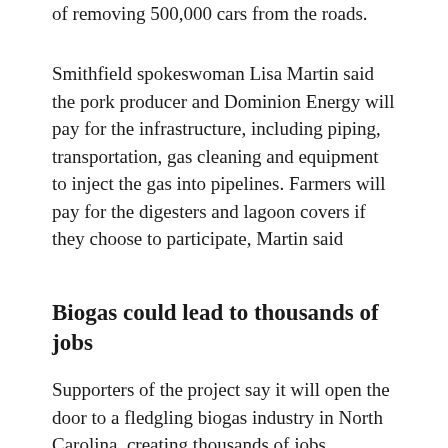of removing 500,000 cars from the roads.
Smithfield spokeswoman Lisa Martin said the pork producer and Dominion Energy will pay for the infrastructure, including piping, transportation, gas cleaning and equipment to inject the gas into pipelines. Farmers will pay for the digesters and lagoon covers if they choose to participate, Martin said
Biogas could lead to thousands of jobs
Supporters of the project say it will open the door to a fledgling biogas industry in North Carolina, creating thousands of jobs.